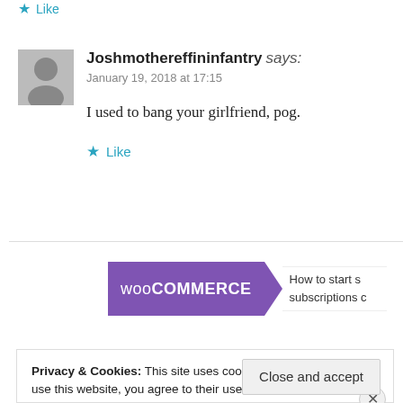Like
Joshmothereffininfantry says:
January 19, 2018 at 17:15
I used to bang your girlfriend, pog.
Like
[Figure (screenshot): WooCommerce advertisement banner showing purple WooCommerce logo and text 'How to start subscriptions']
Privacy & Cookies: This site uses cookies. By continuing to use this website, you agree to their use.
To find out more, including how to control cookies, see here: Cookie Policy